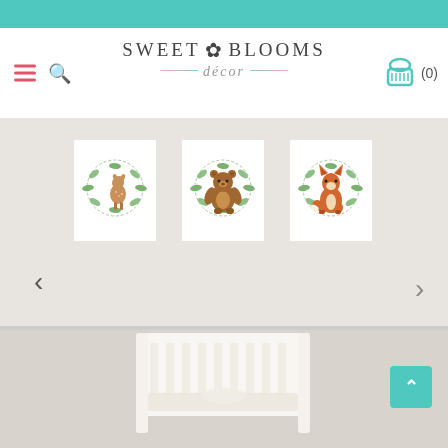[Figure (screenshot): Sweet Blooms Decor website header with teal top bar, hamburger menu, search icon, logo with flower emblem and 'décor' subtitle, and teal basket cart icon showing (0)]
[Figure (photo): Product photo showing three framed woodland animal watercolor art prints (deer, bear, and fox with eucalyptus wreaths) displayed on a wall above a white nursery crib in a room with neutral walls]